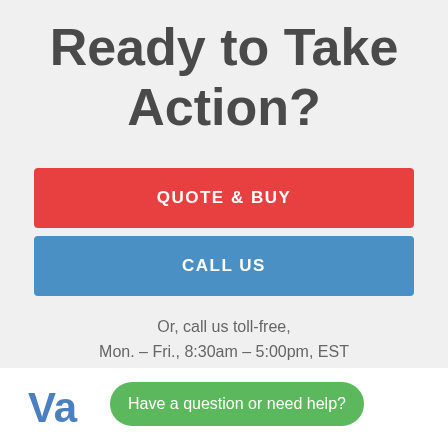Ready to Take Action?
QUOTE & BUY
CALL US
Or, call us toll-free,
Mon. – Fri., 8:30am – 5:00pm, EST
[Figure (logo): Va logo partial text in blue]
Have a question or need help?